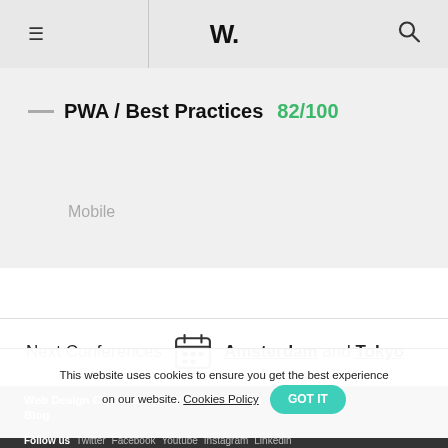W.
PWA / Best Practices  82/100
Mobile
Next Conferences  Amsterdam and Tokyo
Web Design Courses  About Us  Winners  Nominees  Blog
This website uses cookies to ensure you get the best experience on our website. Cookies Policy  GOT IT
Follow us  Twitter  Facebook  Youtube  Instagram  Linkedin